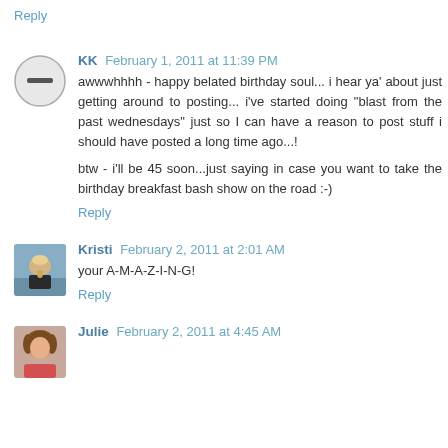Reply
KK  February 1, 2011 at 11:39 PM
awwwhhhh - happy belated birthday soul... i hear ya' about just getting around to posting... i've started doing "blast from the past wednesdays" just so I can have a reason to post stuff i should have posted a long time ago...!

btw - i'll be 45 soon...just saying in case you want to take the birthday breakfast bash show on the road :-)
Reply
Kristi  February 2, 2011 at 2:01 AM
your A-M-A-Z-I-N-G!
Reply
Julie  February 2, 2011 at 4:45 AM